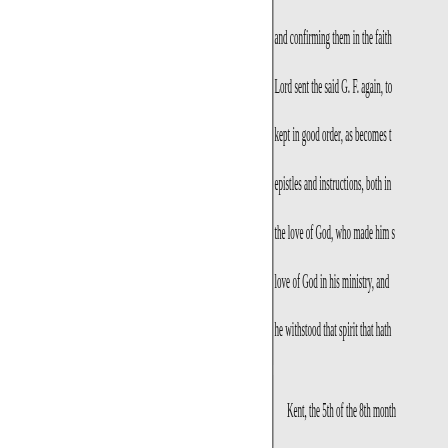and confirming them in the faith Lord sent the said G. F. again, to kept in good order, as becomes t epistles and instructions, both in the love of God, who made him s love of God in his ministry, and he withstood that spirit that hath
Kent, the 5th of the 8th month
AMBROSE RIGGE, Concern life and salvation, and made him Testament (or covenant) not of th proclaim the acceptable day of th sate in darkness and under the sh enticing words of man's wisdom opened in the north, and many th of Satan unto God, and gathered
preach himself, but Jesus Christ. went to and fro, and light, wisdo spirit, to build up a spiritual hous life of the son of God, that it was He travelled through many suffe brethren; but the Lord's power w